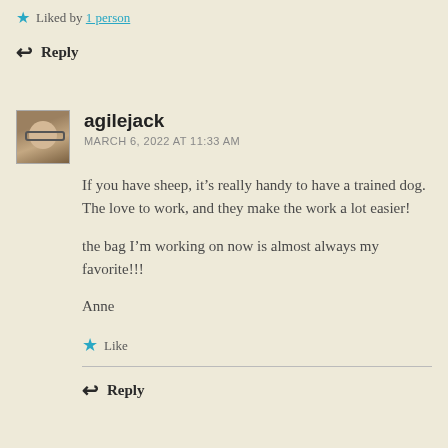Liked by 1 person
Reply
agilejack
MARCH 6, 2022 AT 11:33 AM
If you have sheep, it’s really handy to have a trained dog. The love to work, and they make the work a lot easier!
the bag I’m working on now is almost always my favorite!!!
Anne
Like
Reply